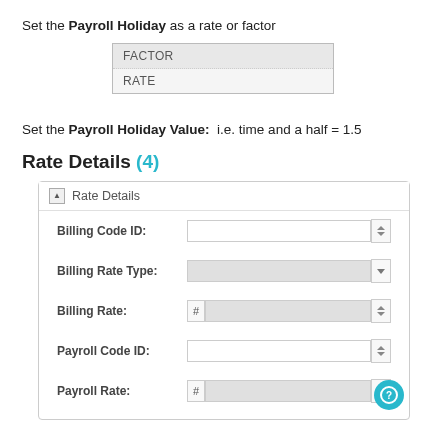Set the Payroll Holiday as a rate or factor
| FACTOR |
| RATE |
Set the Payroll Holiday Value:  i.e. time and a half = 1.5
Rate Details (4)
Rate Details panel with fields: Billing Code ID, Billing Rate Type, Billing Rate, Payroll Code ID, Payroll Rate